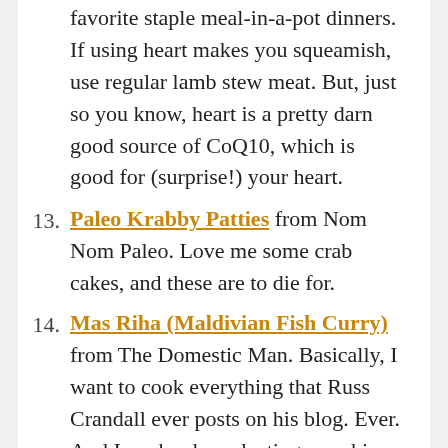favorite staple meal-in-a-pot dinners. If using heart makes you squeamish, use regular lamb stew meat. But, just so you know, heart is a pretty darn good source of CoQ10, which is good for (surprise!) your heart.
13. Paleo Krabby Patties from Nom Nom Paleo. Love me some crab cakes, and these are to die for.
14. Mas Riha (Maldivian Fish Curry) from The Domestic Man. Basically, I want to cook everything that Russ Crandall ever posts on his blog. Ever. And I am hardcore lusting over his new cookbook, The Ancestral Table. I love that he adapts traditional